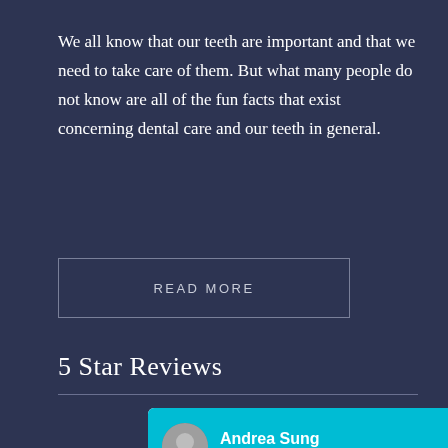We all know that our teeth are important and that we need to take care of them. But what many people do not know are all of the fun facts that exist concerning dental care and our teeth in general.
READ MORE
5 Star Reviews
[Figure (other): Google review card for Andrea Sung, Apr 20, 2022, with 5.0 star rating and review text beginning 'Dr. Mihaela does a fabulous job with monitoring my teeth and dealing with my complicated fillings. The office']